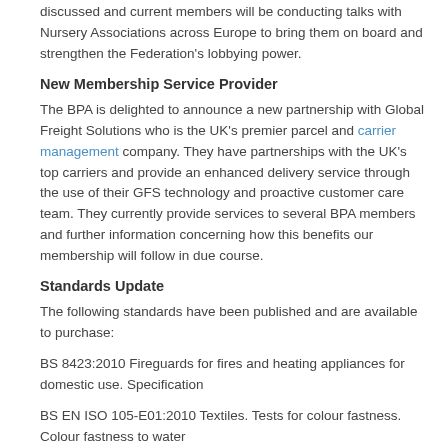discussed and current members will be conducting talks with Nursery Associations across Europe to bring them on board and strengthen the Federation's lobbying power.
New Membership Service Provider
The BPA is delighted to announce a new partnership with Global Freight Solutions who is the UK's premier parcel and carrier management company. They have partnerships with the UK's top carriers and provide an enhanced delivery service through the use of their GFS technology and proactive customer care team. They currently provide services to several BPA members and further information concerning how this benefits our membership will follow in due course.
Standards Update
The following standards have been published and are available to purchase:
BS 8423:2010 Fireguards for fires and heating appliances for domestic use. Specification
BS EN ISO 105-E01:2010 Textiles. Tests for colour fastness. Colour fastness to water
BS EN ISO 105-E03:2010 Textiles. Tests for colour fastness. Colour fastness to chlorinated water (swimming-pool water)